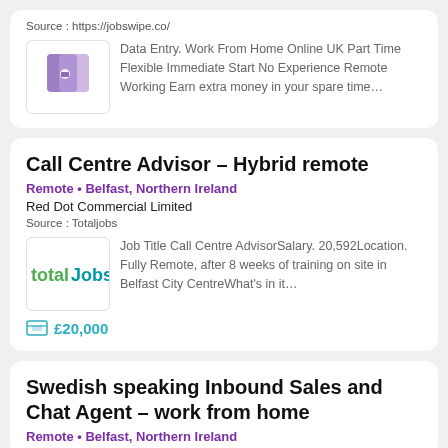Source : https://jobswipe.co/
Data Entry. Work From Home Online UK Part Time Flexible Immediate Start No Experience Remote Working Earn extra money in your spare time...
Call Centre Advisor – Hybrid remote
Remote • Belfast, Northern Ireland
Red Dot Commercial Limited
Source : Totaljobs
Job Title Call Centre AdvisorSalary. 20,592Location. Fully Remote, after 8 weeks of training on site in Belfast City CentreWhat's in it...
£20,000
Swedish speaking Inbound Sales and Chat Agent – work from home
Remote • Belfast, Northern Ireland